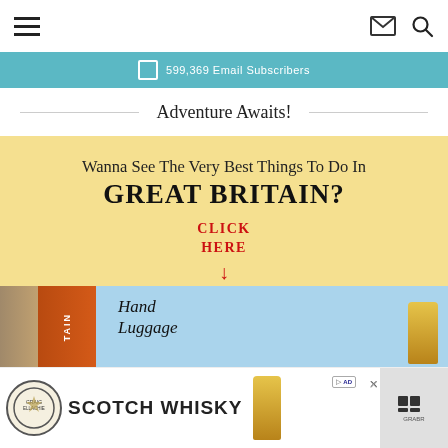Navigation header with hamburger menu, envelope icon, and search icon
599,369 Email Subscribers
Adventure Awaits!
[Figure (infographic): Yellow-background advertisement banner: 'Wanna See The Very Best Things To Do In GREAT BRITAIN?' with handwritten 'CLICK HERE' and arrow in red, and a book showing 'Hand Luggage' text at the bottom]
[Figure (infographic): Bottom advertisement bar for Scotch Whisky featuring logo, text, bottle image, and a Grabr badge]